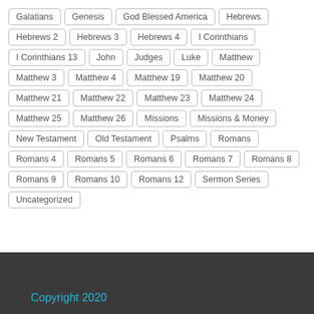Galatians, Genesis, God Blessed America, Hebrews, Hebrews 2, Hebrews 3, Hebrews 4, I Corinthians, I Corinthians 13, John, Judges, Luke, Matthew, Matthew 3, Matthew 4, Matthew 19, Matthew 20, Matthew 21, Matthew 22, Matthew 23, Matthew 24, Matthew 25, Matthew 26, Missions, Missions & Money, New Testament, Old Testament, Psalms, Romans, Romans 4, Romans 5, Romans 6, Romans 7, Romans 8, Romans 9, Romans 10, Romans 12, Sermon Series, Uncategorized
Copyright 2020